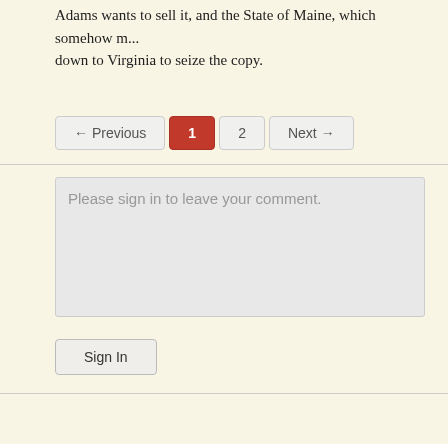Adams wants to sell it, and the State of Maine, which somehow m... down to Virginia to seize the copy.
[Figure (screenshot): Pagination controls showing ← Previous, page 1 (active/highlighted in red), page 2, and Next → buttons]
[Figure (screenshot): Comment text area with placeholder text 'Please sign in to leave your comment.']
[Figure (screenshot): Sign In button]
Home
Rare Book Monthly
Rare Book Monthly Archives Map